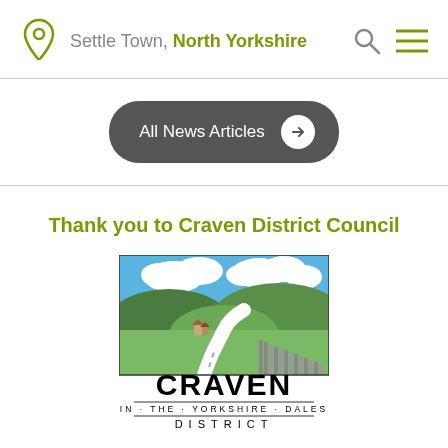Settle Town, North Yorkshire
All News Articles
Thank you to Craven District Council
[Figure (logo): Craven District Council logo — illustrated landscape of Yorkshire Dales with road, hills, blue sky and clouds; text reads CRAVEN IN THE YORKSHIRE DALES DISTRICT]